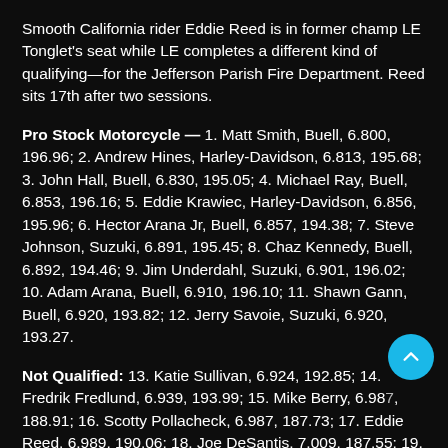Smooth California rider Eddie Reed is in former champ LE Tonglet's seat while LE completes a different kind of qualifying—for the Jefferson Parish Fire Department. Reed sits 17th after two sessions.
Pro Stock Motorcycle — 1. Matt Smith, Buell, 6.800, 196.96; 2. Andrew Hines, Harley-Davidson, 6.813, 195.68; 3. John Hall, Buell, 6.830, 195.05; 4. Michael Ray, Buell, 6.853, 196.16; 5. Eddie Krawiec, Harley-Davidson, 6.856, 195.96; 6. Hector Arana Jr, Buell, 6.857, 194.38; 7. Steve Johnson, Suzuki, 6.891, 195.45; 8. Chaz Kennedy, Buell, 6.892, 194.46; 9. Jim Underdahl, Suzuki, 6.901, 196.02; 10. Adam Arana, Buell, 6.910, 196.10; 11. Shawn Gann, Buell, 6.920, 193.82; 12. Jerry Savoie, Suzuki, 6.920, 193.27.
Not Qualified: 13. Katie Sullivan, 6.924, 192.85; 14. Fredrik Fredlund, 6.939, 193.99; 15. Mike Berry, 6.987, 188.91; 16. Scotty Pollacheck, 6.987, 187.73; 17. Eddie Reed, 6.989, 190.06; 18. Joe DeSantis, 7.009, 187.55; 19.